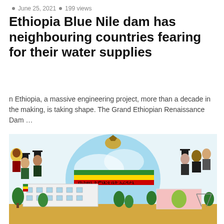June 25, 2021 • 199 views
Ethiopia Blue Nile dam has neighbouring countries fearing for their water supplies
n Ethiopia, a massive engineering project, more than a decade in the making, is taking shape. The Grand Ethiopian Renaissance Dam …
[Figure (illustration): Colorful Ethiopian mural/painting showing graduates in academic gowns and caps alongside other figures, with Ethiopian flag colors (green, yellow, red), Amharic text reading partial phrases, and two building structures (school or civic buildings) surrounded by green trees and landscaping. A lion figure appears at the top center. The scene depicts community development and education.]